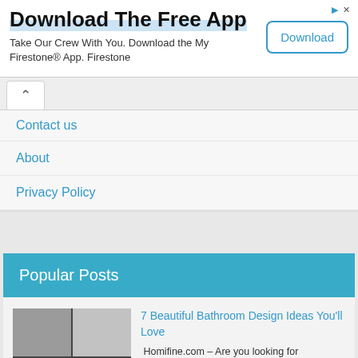Download The Free App
Take Our Crew With You. Download the My Firestone® App. Firestone
Download
Contact us
About
Privacy Policy
Popular Posts
[Figure (photo): Grid of 4 bathroom photos]
7 Beautiful Bathroom Design Ideas You'll Love
Homifine.com – Are you looking for inspiration for a beautiful bathroom design? The bathroom becomes one of the rooms that have an impor...